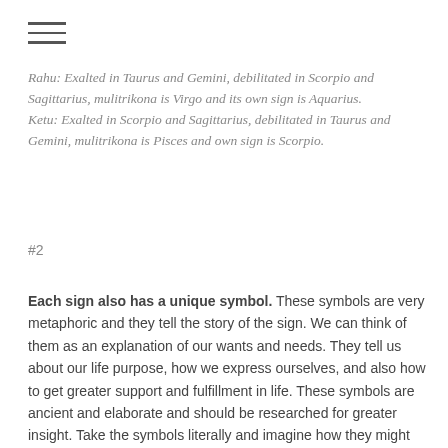[Figure (other): Hamburger menu icon with three horizontal lines]
Rahu: Exalted in Taurus and Gemini, debilitated in Scorpio and Sagittarius, mulitrikona is Virgo and its own sign is Aquarius.
Ketu: Exalted in Scorpio and Sagittarius, debilitated in Taurus and Gemini, mulitrikona is Pisces and own sign is Scorpio.
#2
Each sign also has a unique symbol. These symbols are very metaphoric and they tell the story of the sign. We can think of them as an explanation of our wants and needs. They tell us about our life purpose, how we express ourselves, and also how to get greater support and fulfillment in life. These symbols are ancient and elaborate and should be researched for greater insight. Take the symbols literally and imagine how they might